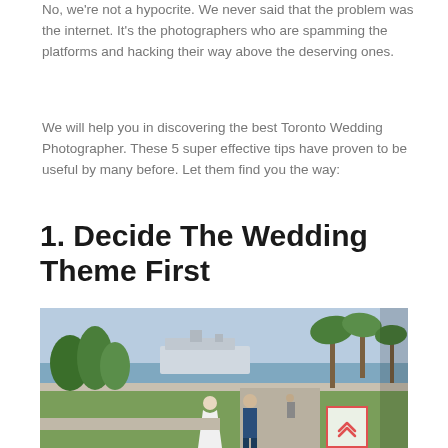No, we're not a hypocrite. We never said that the problem was the internet. It's the photographers who are spamming the platforms and hacking their way above the deserving ones.
We will help you in discovering the best Toronto Wedding Photographer. These 5 super effective tips have proven to be useful by many before. Let them find you the way:
1. Decide The Wedding Theme First
[Figure (photo): A bride in a white dress and groom in a blue suit walking outdoors near palm trees with a cruise ship and waterfront in the background.]